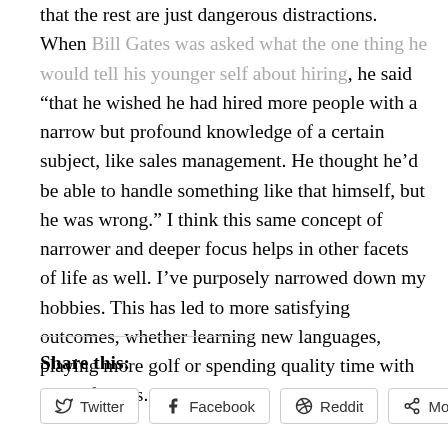that the rest are just dangerous distractions. When Bill Gates was asked what the one thing he would tell his younger self about hiring, he said “that he wished he had hired more people with a narrow but profound knowledge of a certain subject, like sales management. He thought he’d be able to handle something like that himself, but he was wrong.” I think this same concept of narrower and deeper focus helps in other facets of life as well. I’ve purposely narrowed down my hobbies. This has led to more satisfying outcomes, whether learning new languages, playing more golf or spending quality time with select friends.
Share this:
Twitter | Facebook | Reddit | More